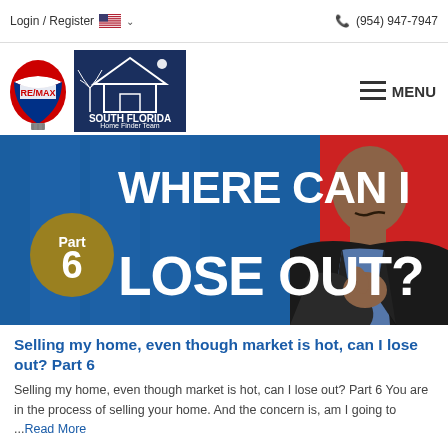Login / Register | (954) 947-7947
[Figure (logo): RE/MAX and South Florida Home Finder Team logos]
[Figure (photo): Promotional banner image: 'WHERE CAN I LOSE OUT? Part 6' with a man in a dark blazer against a blue and red background]
Selling my home, even though market is hot, can I lose out? Part 6
Selling my home, even though market is hot, can I lose out? Part 6 You are in the process of selling your home. And the concern is, am I going to ...Read More